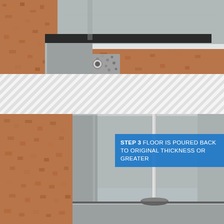[Figure (engineering-diagram): Cross-section engineering diagram showing a basement/foundation wall with soil on the left, concrete footing, drainage pipe, and interior concrete slab with perimeter drainage channel. Overhead view shows the slab cut away revealing gravel and piping beneath.]
[Figure (engineering-diagram): Diagonal stripe pattern separator band between two diagrams.]
[Figure (engineering-diagram): Step 3 engineering diagram showing the basement interior after floor is poured back to original thickness or greater, with a sump pipe/riser in the center of the floor and a sump cover plate at the base.]
STEP 3 FLOOR IS POURED BACK TO ORIGINAL THICKNESS OR GREATER